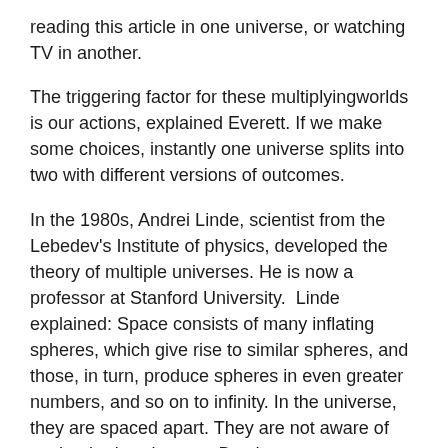reading this article in one universe, or watching TV in another.
The triggering factor for these multiplyingworlds is our actions, explained Everett. If we make some choices, instantly one universe splits into two with different versions of outcomes.
In the 1980s, Andrei Linde, scientist from the Lebedev's Institute of physics, developed the theory of multiple universes. He is now a professor at Stanford University. Linde explained: Space consists of many inflating spheres, which give rise to similar spheres, and those, in turn, produce spheres in even greater numbers, and so on to infinity. In the universe, they are spaced apart. They are not aware of each other's existence. But they represent parts of the same physical universe.